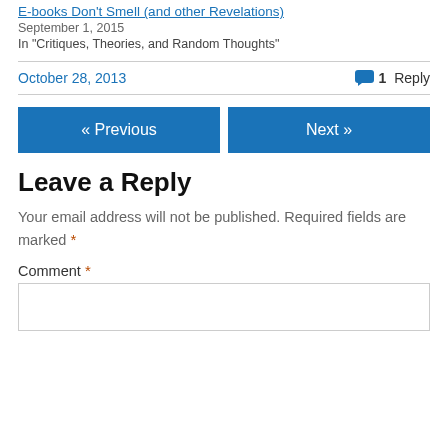E-books Don't Smell (and other Revelations)
September 1, 2015
In "Critiques, Theories, and Random Thoughts"
October 28, 2013    1 Reply
« Previous    Next »
Leave a Reply
Your email address will not be published. Required fields are marked *
Comment *